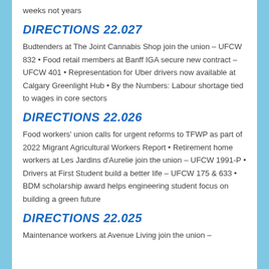weeks not years
DIRECTIONS 22.027
Budtenders at The Joint Cannabis Shop join the union – UFCW 832 • Food retail members at Banff IGA secure new contract – UFCW 401 • Representation for Uber drivers now available at Calgary Greenlight Hub • By the Numbers: Labour shortage tied to wages in core sectors
DIRECTIONS 22.026
Food workers' union calls for urgent reforms to TFWP as part of 2022 Migrant Agricultural Workers Report • Retirement home workers at Les Jardins d'Aurelie join the union – UFCW 1991-P • Drivers at First Student build a better life – UFCW 175 & 633 • BDM scholarship award helps engineering student focus on building a green future
DIRECTIONS 22.025
Maintenance workers at Avenue Living join the union –